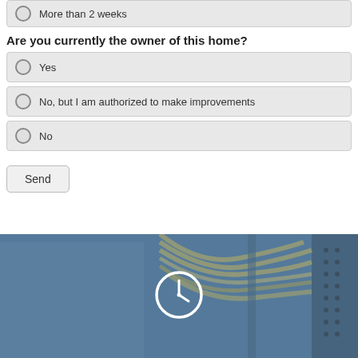More than 2 weeks
Are you currently the owner of this home?
Yes
No, but I am authorized to make improvements
No
Send
[Figure (photo): Blue-tinted photo of electrical wiring/cables in a panel or enclosure, with a white clock icon overlay in the center.]